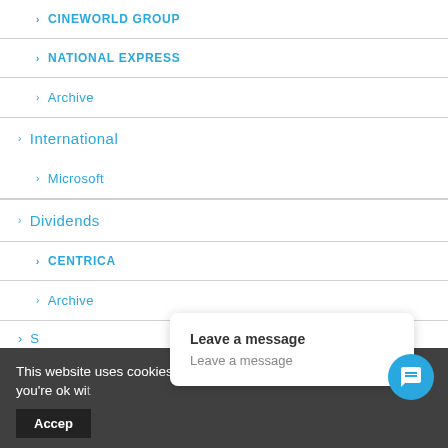> CINEWORLD GROUP
> NATIONAL EXPRESS
> Archive
> International
> Microsoft
> Dividends
> CENTRICA
> Archive
> (partially visible item)
This website uses cookies to improve your experience. We'll assume you're ok with this, but you can opt-out if you wish.
Leave a message
Leave a message